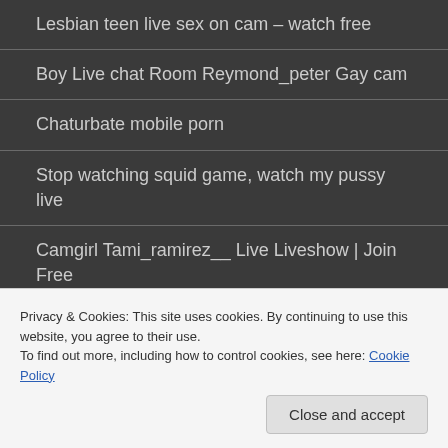Lesbian teen live sex on cam – watch free
Boy Live chat Room Reymond_peter Gay cam
Chaturbate mobile porn
Stop watching squid game, watch my pussy live
Camgirl Tami_ramirez__ Live Liveshow | Join Free
tags blog - Sitemaps
Privacy & Cookies: This site uses cookies. By continuing to use this website, you agree to their use.
To find out more, including how to control cookies, see here: Cookie Policy
Close and accept